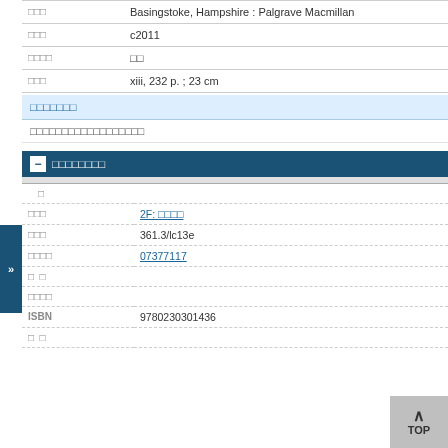| field | value |
| --- | --- |
| □□□ | Basingstoke, Hampshire : Palgrave Macmillan |
| □□□ | c2011 |
| □□□□ | □□ |
| □□□ | xiii, 232 p. ; 23 cm |
□□□□□□□
□□□□□□□□□□□□□□□□□□
□□□□□□□□
| field | value |
| --- | --- |
| □ |  |
| □□□ | 2F: □□□□ |
| □□□ | 361.3/lc13e |
| □□□□ | 07377117 |
| □ □ |  |
| □□□□ |  |
| ISBN | 9780230301436 |
| □ □ |  |